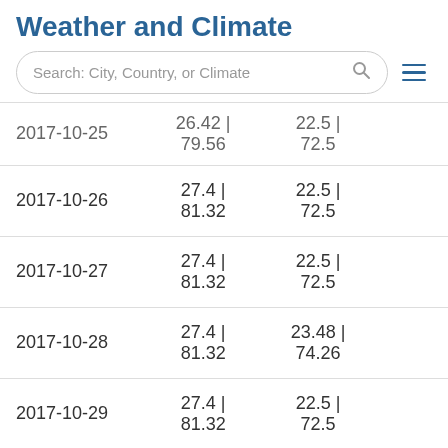Weather and Climate
| Date | Col2 | Col3 |
| --- | --- | --- |
| 2017-10-25 | 26.42 | 79.56 | 22.5 | 72.5 |
| 2017-10-26 | 27.4 | 81.32 | 22.5 | 72.5 |
| 2017-10-27 | 27.4 | 81.32 | 22.5 | 72.5 |
| 2017-10-28 | 27.4 | 81.32 | 23.48 | 74.26 |
| 2017-10-29 | 27.4 | 81.32 | 22.5 | 72.5 |
| 2017-10-30 | 27.4 | 81.32 | 22.5 | 72.5 |
| 2017-10-31 | 27.4 | 81.32 | 22.5 | 72.5 |